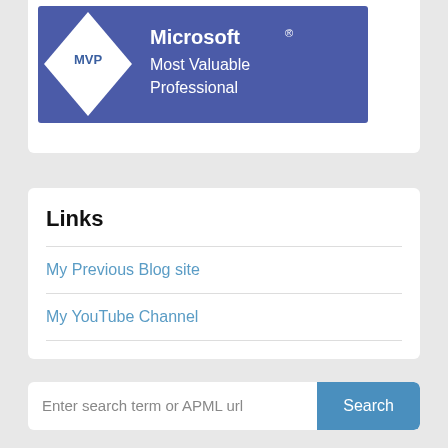[Figure (logo): Microsoft MVP Most Valuable Professional logo badge — dark blue/purple background with a white diamond shape containing 'MVP' in blue letters, with 'Microsoft Most Valuable Professional' text in white to the right]
Links
My Previous Blog site
My YouTube Channel
Enter search term or APML url
Tag cloud